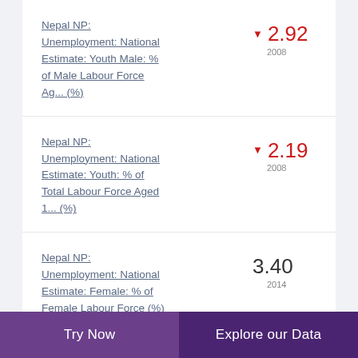Nepal NP: Unemployment: National Estimate: Youth Male: % of Male Labour Force Ag... (%)
Nepal NP: Unemployment: National Estimate: Youth: % of Total Labour Force Aged 1... (%)
Nepal NP: Unemployment: National Estimate: Female: % of Female Labour Force (%)
Try Now | Explore our Data